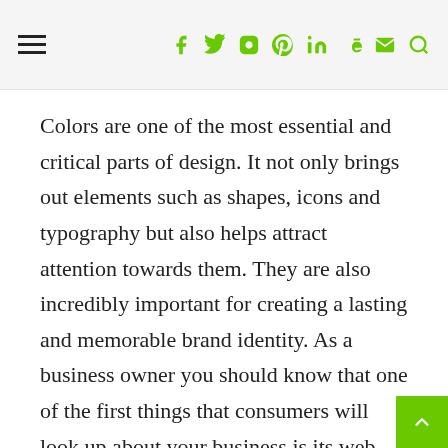Navigation bar with hamburger menu and social icons: f, twitter, instagram, pinterest, in, Be, email, search
Colors are one of the most essential and critical parts of design. It not only brings out elements such as shapes, icons and typography but also helps attract attention towards them. They are also incredibly important for creating a lasting and memorable brand identity. As a business owner you should know that one of the first things that consumers will look up about your business is its web page. Through the website, you will get a chance to make a strong first impression and convey your brand's message to the consumers as well. Due to this, the color scheme of your web design should be selected very carefully.